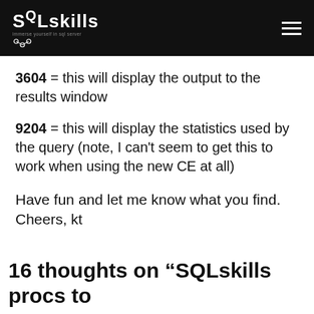SQLskills
3604 = this will display the output to the results window
9204 = this will display the statistics used by the query (note, I can't seem to get this to work when using the new CE at all)
Have fun and let me know what you find. Cheers, kt
16 thoughts on “SQLskills procs to